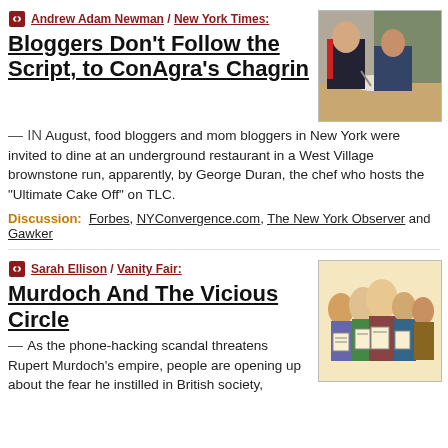Andrew Adam Newman / New York Times: Bloggers Don't Follow the Script, to ConAgra's Chagrin — IN August, food bloggers and mom bloggers in New York were invited to dine at an underground restaurant in a West Village brownstone run, apparently, by George Duran, the chef who hosts the "Ultimate Cake Off" on TLC.
[Figure (photo): Two men seated at a table eating, one in a dark jacket with red trim, one in a suit, with food and plates on table.]
Discussion: Forbes, NYConvergence.com, The New York Observer and Gawker
Sarah Ellison / Vanity Fair: Murdoch And The Vicious Circle — As the phone-hacking scandal threatens Rupert Murdoch's empire, people are opening up about the fear he instilled in British society...
[Figure (illustration): Caricature illustration of a group of people holding newspapers or signs, appearing to be Rupert Murdoch and associates.]